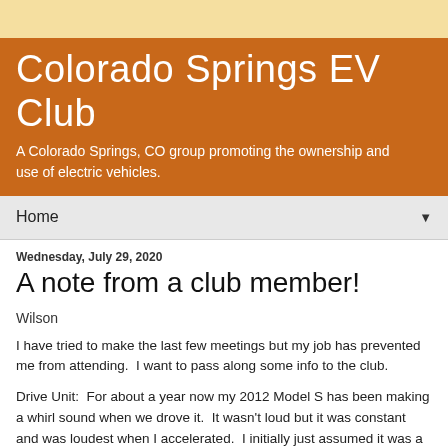Colorado Springs EV Club
A Colorado Springs, CO group promoting the ownership and use of electric vehicles.
Home ▼
Wednesday, July 29, 2020
A note from a club member!
Wilson
I have tried to make the last few meetings but my job has prevented me from attending.  I want to pass along some info to the club.
Drive Unit:  For about a year now my 2012 Model S has been making a whirl sound when we drove it.  It wasn't loud but it was constant and was loudest when I accelerated.  I initially just assumed it was a normal sound based on the age of the car.  However, I took the car in to get the MCU replaced and asked them to look at the sound.  It turned out the drive unit was failing.  To have replaced the unit ($$$) and have...